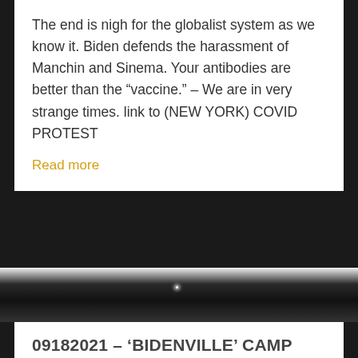The end is nigh for the globalist system as we know it. Biden defends the harassment of Manchin and Sinema. Your antibodies are better than the "vaccine." – We are in very strange times. link to (NEW YORK) COVID PROTEST
Read more
09182021 – 'BIDENVILLE' CAMP UNDER A BRIDGE ON TEXAS BORDER
[Figure (photo): Partial view of a photo at the bottom of the page, showing a brownish/dark image]